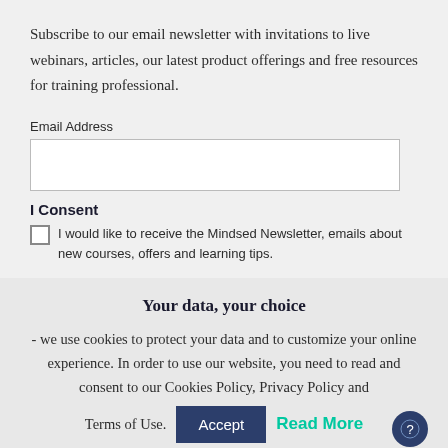Subscribe to our email newsletter with invitations to live webinars, articles, our latest product offerings and free resources for training professional.
Email Address
I Consent
I would like to receive the Mindsed Newsletter, emails about new courses, offers and learning tips.
Your data, your choice
- we use cookies to protect your data and to customize your online experience. In order to use our website, you need to read and consent to our Cookies Policy, Privacy Policy and Terms of Use.
Accept
Read More